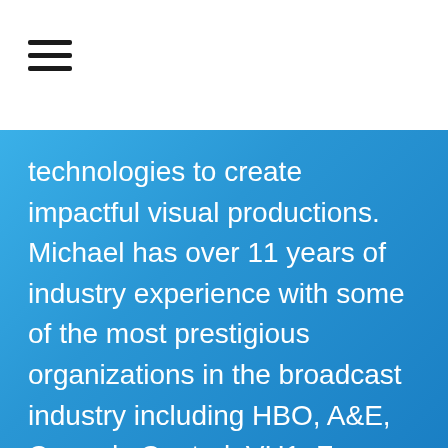technologies to create impactful visual productions. Michael has over 11 years of industry experience with some of the most prestigious organizations in the broadcast industry including HBO, A&E, Comedy Central, VH1, Fuse, Fox News Channel, NY1 News, HDNews, and NYC TV.